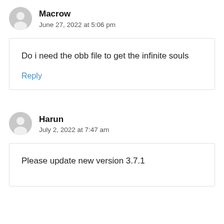Macrow
June 27, 2022 at 5:06 pm
Do i need the obb file to get the infinite souls
Reply
Harun
July 2, 2022 at 7:47 am
Please update new version 3.7.1